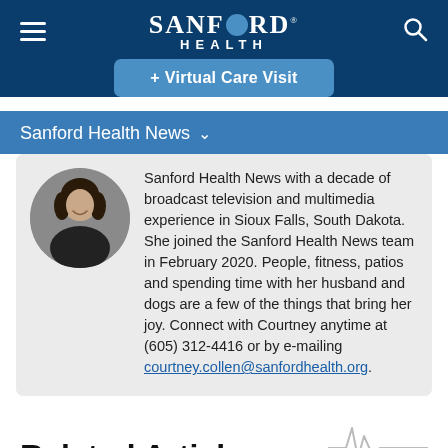SANFORD HEALTH
+ Virtual Care Visit
Sanford Health News
[Figure (photo): Circular headshot photo of Courtney Collen, a woman with dark hair, smiling, wearing a dark blazer]
Sanford Health News with a decade of broadcast television and multimedia experience in Sioux Falls, South Dakota. She joined the Sanford Health News team in February 2020. People, fitness, patios and spending time with her husband and dogs are a few of the things that bring her joy. Connect with Courtney anytime at (605) 312-4416 or by e-mailing courtney.collen@sanfordhealth.org.
Related Articles